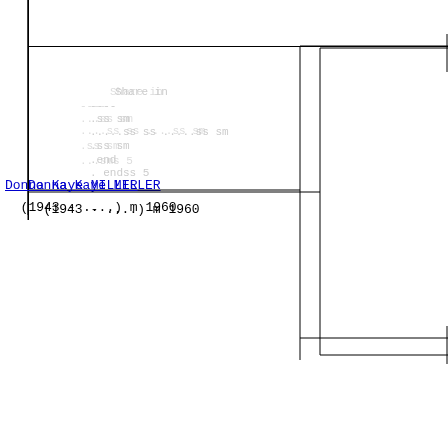[Figure (other): Genealogy pedigree chart showing Lyle Edward MILLER (1908-1997) m 1927, Donna Kaye MILLER (1943-...) m 1960, Ruth Irene CHAPMAN (1908-1970) m 1927, Phebe Mar- (1868-19...), with faded background tree structure]
Go to Index of Individuals
Go to Home Page
© 1998 - 2022 Kevin J. Outman
HTML created by Kevin J. Outman using GED2HTML v3.6a-WIN32 (May 17 2004) on 9/20/2009 9:32:48 AM Central Daylight Time.
[Figure (other): Navigation bar with tabs: Home (green), Research (pink), Obituaries (gray), Photos (orange), Docume... (gray)]
Mabel RUSH
21 Apr 1898 - 7 Nov 1978